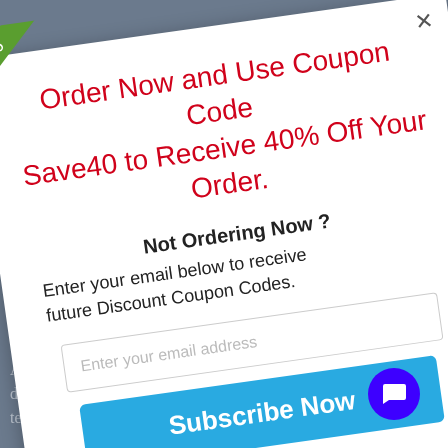[Figure (screenshot): A promotional popup modal on a website offering a 40% discount coupon code 'Save40', with an email subscription field and Subscribe Now button, displayed at a slight rotation angle over a dark background webpage.]
Order Now and Use Coupon Code Save40 to Receive 40% Off Your Order.
Not Ordering Now ?
Enter your email below to receive future Discount Coupon Codes.
Enter your email address
Subscribe Now
spect your privacy. Your information is safe and will never be shared.